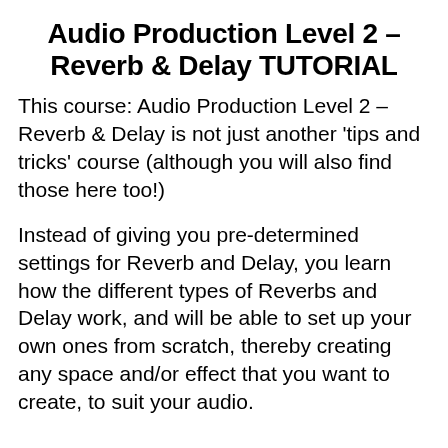Audio Production Level 2 – Reverb & Delay TUTORIAL
This course: Audio Production Level 2 – Reverb & Delay is not just another 'tips and tricks' course (although you will also find those here too!)
Instead of giving you pre-determined settings for Reverb and Delay, you learn how the different types of Reverbs and Delay work, and will be able to set up your own ones from scratch, thereby creating any space and/or effect that you want to create, to suit your audio.